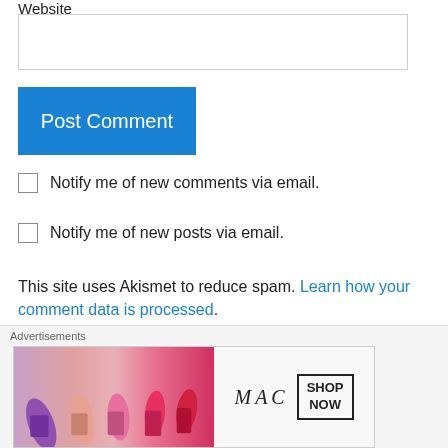Website
[Figure (other): Empty text input field for Website]
[Figure (other): Blue Post Comment button]
Notify me of new comments via email.
Notify me of new posts via email.
This site uses Akismet to reduce spam. Learn how your comment data is processed.
AL on July 6, 2014 at 11:52 am
[Figure (other): MAC cosmetics advertisement banner with lipsticks and Shop Now button]